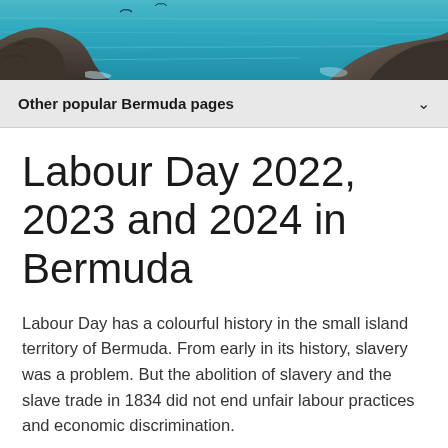[Figure (photo): Aerial or close-up photograph of rocky coastline with turquoise/teal ocean water and rocky outcroppings, typical of Bermuda scenery.]
Other popular Bermuda pages
Labour Day 2022, 2023 and 2024 in Bermuda
Labour Day has a colourful history in the small island territory of Bermuda. From early in its history, slavery was a problem. But the abolition of slavery and the slave trade in 1834 did not end unfair labour practices and economic discrimination.